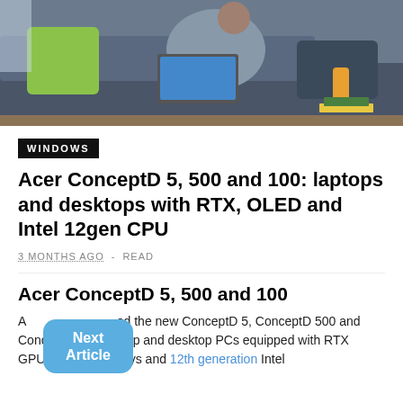[Figure (photo): Person sitting on a sofa using a laptop, with a green pillow and a drink on the side]
WINDOWS
Acer ConceptD 5, 500 and 100: laptops and desktops with RTX, OLED and Intel 12gen CPU
3 MONTHS AGO  -  READ
Acer ConceptD 5, 500 and 100
Acer announced the new ConceptD 5, ConceptD 500 and ConceptD 100: laptop and desktop PCs equipped with RTX GPUs, OLED displays and 12th generation Intel